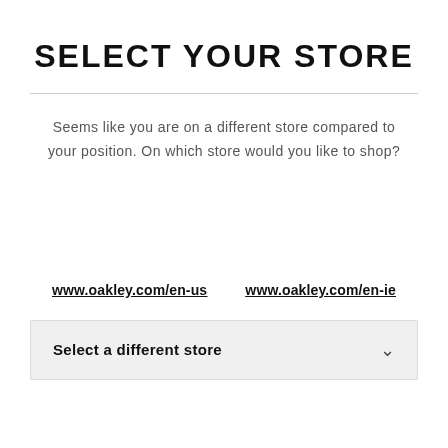SELECT YOUR STORE
Seems like you are on a different store compared to your position. On which store would you like to shop?
www.oakley.com/en-us    www.oakley.com/en-ie
Select a different store